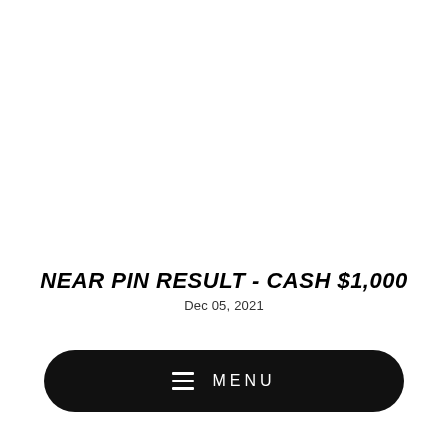NEAR PIN RESULT - CASH $1,000
Dec 05, 2021
MENU